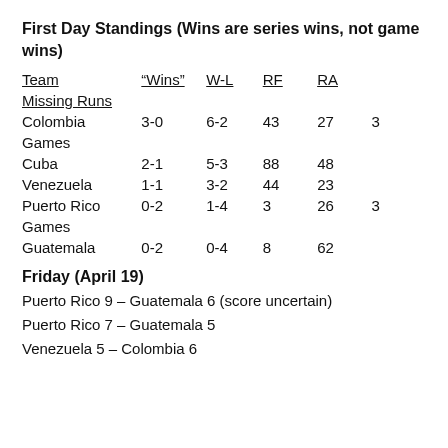First Day Standings (Wins are series wins, not game wins)
| Team | “Wins” | W-L | RF | RA |  |
| --- | --- | --- | --- | --- | --- |
| Missing Runs |  |  |  |  |  |
| Colombia | 3-0 | 6-2 | 43 | 27 | 3 |
| Games |  |  |  |  |  |
| Cuba | 2-1 | 5-3 | 88 | 48 |  |
| Venezuela | 1-1 | 3-2 | 44 | 23 |  |
| Puerto Rico | 0-2 | 1-4 | 3 | 26 | 3 |
| Games |  |  |  |  |  |
| Guatemala | 0-2 | 0-4 | 8 | 62 |  |
Friday (April 19)
Puerto Rico 9 – Guatemala 6 (score uncertain)
Puerto Rico 7 – Guatemala 5
Venezuela 5 – Colombia 6